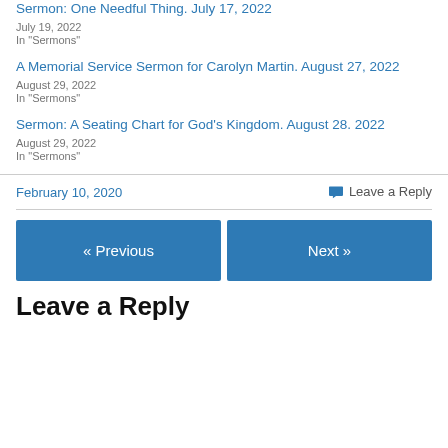Sermon: One Needful Thing. July 17, 2022
July 19, 2022
In "Sermons"
A Memorial Service Sermon for Carolyn Martin. August 27, 2022
August 29, 2022
In "Sermons"
Sermon: A Seating Chart for God's Kingdom. August 28. 2022
August 29, 2022
In "Sermons"
February 10, 2020
Leave a Reply
« Previous
Next »
Leave a Reply